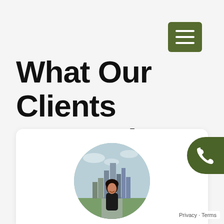[Figure (other): Green hamburger menu button in top right corner]
What Our Clients Are Saying
[Figure (photo): White testimonial card partially visible at bottom with circular profile photo of a woman standing in front of a city skyline]
[Figure (other): Green phone icon button on right side]
Privacy · Terms